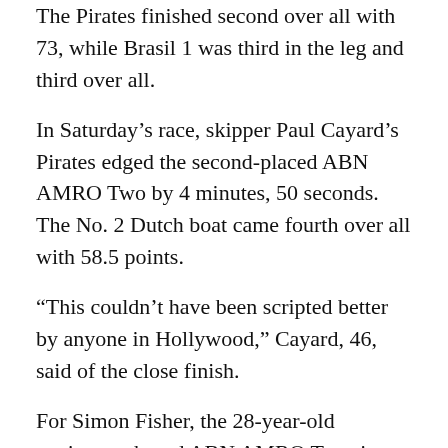The Pirates finished second over all with 73, while Brasil 1 was third in the leg and third over all.
In Saturday's race, skipper Paul Cayard's Pirates edged the second-placed ABN AMRO Two by 4 minutes, 50 seconds. The No. 2 Dutch boat came fourth over all with 58.5 points.
“This couldn’t have been scripted better by anyone in Hollywood,” Cayard, 46, said of the close finish.
For Simon Fisher, the 28-year-old navigator aboard ABN AMRO Two, it was a bittersweet end to the ocean odyssey.
“We were feeling pretty confident until the wind ran out,” he said. “It would have been sweet, actually winning a leg, but we were unlucky.”
The race started off at Vigo, Spain, in November and has been marked by the death of a sailor and the